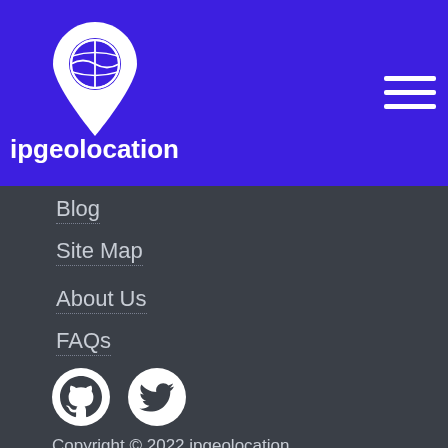ipgeolocation
Blog
Site Map
About Us
FAQs
Terms
Privacy
Subprocessors
[Figure (logo): GitHub and Twitter social media icons]
Copyright © 2022 ipgeolocation